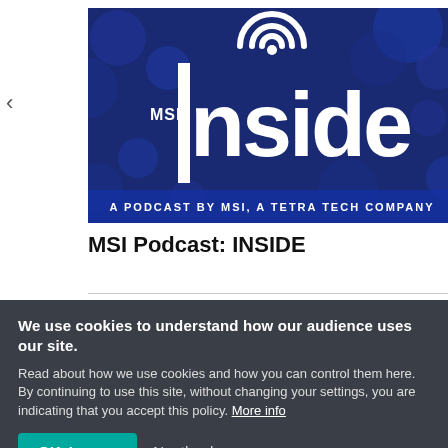[Figure (logo): MSI INSIDE podcast logo — dark blue background with bokeh circles, WiFi icon, large white text reading 'nside' with MSI logo on left, subtitle 'A PODCAST BY MSI, A TETRA TECH COMPANY']
MSI Podcast: INSIDE
We use cookies to understand how our audience uses our site.
Read about how we use cookies and how you can control them here. By continuing to use this site, without changing your settings, you are indicating that you accept this policy. More info
OK, I agree   No, thanks